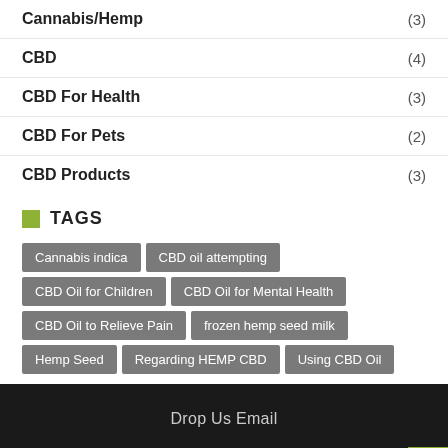Cannabis/Hemp (3)
CBD (4)
CBD For Health (3)
CBD For Pets (2)
CBD Products (3)
TAGS
Cannabis indica | CBD oil attempting | CBD Oil for Children | CBD Oil for Mental Health | CBD Oil to Relieve Pain | frozen hemp seed milk | Hemp Seed | Regarding HEMP CBD | Using CBD Oil
Drop Us Email
© 2022 - CBD Catelog- All Rights Reserved.